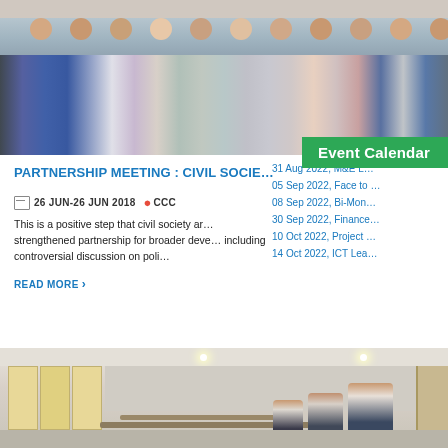[Figure (photo): Group photo of approximately 12-13 people standing together indoors, some wearing blue shirts, one woman in pink skirt]
Event Calendar
PARTNERSHIP MEETING : CIVIL SOCIE…
26 JUN-26 JUN 2018   CCC
This is a positive step that civil society ar… strengthened partnership for broader deve… including controversial discussion on poli…
READ MORE ›
31 Aug 2022, M&E L…
05 Sep 2022, Face to …
08 Sep 2022, Bi-Mon…
30 Sep 2022, Finance…
10 Oct 2022, Project …
14 Oct 2022, ICT Lea…
[Figure (photo): Interior of a meeting room or classroom with people seated at tables, windows with yellow/orange curtains visible on left side, ceiling lights, partially visible attendees]